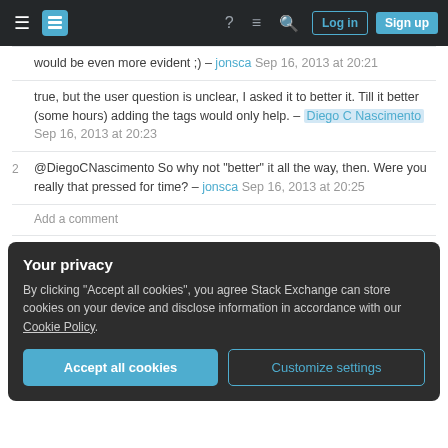Stack Exchange navigation bar with Log in and Sign up buttons
would be even more evident ;) – jonsca Sep 16, 2013 at 20:21
true, but the user question is unclear, I asked it to better it. Till it better (some hours) adding the tags would only help. – Diego C Nascimento Sep 16, 2013 at 20:23
2 @DiegoCNascimento So why not "better" it all the way, then. Were you really that pressed for time? – jonsca Sep 16, 2013 at 20:25
Add a comment
Your privacy
By clicking "Accept all cookies", you agree Stack Exchange can store cookies on your device and disclose information in accordance with our Cookie Policy.
Accept all cookies | Customize settings